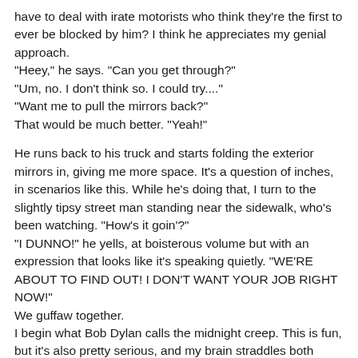have to deal with irate motorists who think they're the first to ever be blocked by him? I think he appreciates my genial approach.
"Heey," he says. "Can you get through?"
"Um, no. I don't think so. I could try...."
"Want me to pull the mirrors back?"
That would be much better. "Yeah!"

He runs back to his truck and starts folding the exterior mirrors in, giving me more space. It's a question of inches, in scenarios like this. While he's doing that, I turn to the slightly tipsy street man standing near the sidewalk, who's been watching. "How's it goin'?"
"I DUNNO!" he yells, at boisterous volume but with an expression that looks like it's speaking quietly. "WE'RE ABOUT TO FIND OUT! I DON'T WANT YOUR JOB RIGHT NOW!"
We guffaw together.
I begin what Bob Dylan calls the midnight creep. This is fun, but it's also pretty serious, and my brain straddles both headspaces. If the bus touches any fixed object (like a garbage truck, or tree), it's a preventable accident and my fault. On the other hand, it's a game, a game of professionals helping each other, a game whose rules any